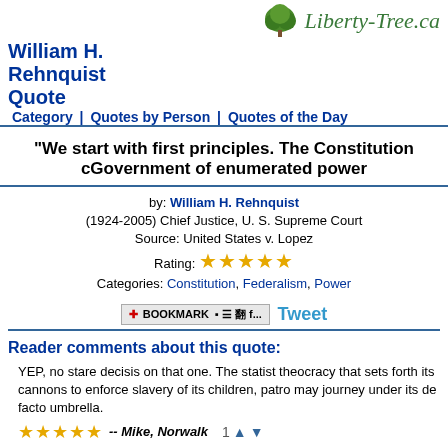Liberty-Tree.ca
William H. Rehnquist Quote
Category | Quotes by Person | Quotes of the Day
"We start with first principles. The Constitution creates a Federal Government of enumerated power..."
by: William H. Rehnquist (1924-2005) Chief Justice, U. S. Supreme Court
Source: United States v. Lopez
Rating: ★★★★★
Categories: Constitution, Federalism, Power
Reader comments about this quote:
YEP, no stare decisis on that one. The statist theocracy that sets forth its cannons to enforce slavery of its children, patrons may journey under its de facto umbrella.
★★★★★ -- Mike, Norwalk   1 ▲ ▼
Tell that to the phony altruists in the U.S.Congress, who steal and give it to the non producers.
★★★★★ -- jim h, austin   2 ▲ ▼